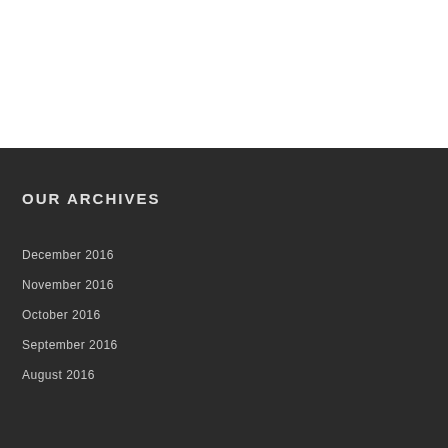OUR ARCHIVES
December 2016
November 2016
October 2016
September 2016
August 2016